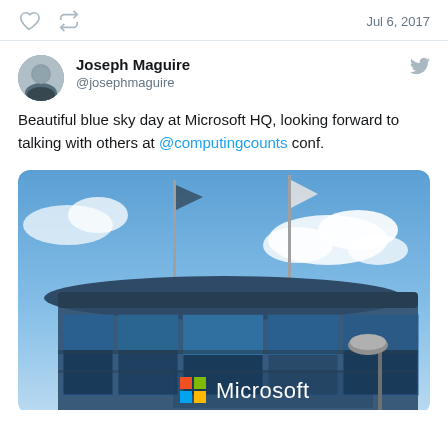Jul 6, 2017
Joseph Maguire @josephmaguire
Beautiful blue sky day at Microsoft HQ, looking forward to talking with others at @computingcounts conf.
[Figure (photo): Photo of Microsoft HQ building with blue sky, flags on flagpoles, and Microsoft logo with colorful Windows icon visible on the building facade.]